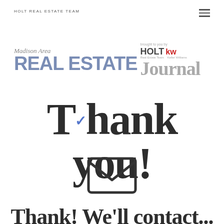HOLT REAL ESTATE TEAM
[Figure (logo): Madison Area Real Estate Journal logo with Holt kw branding]
Thank you!
[Figure (illustration): Envelope icon (mail symbol)]
Thank! We'll contact...